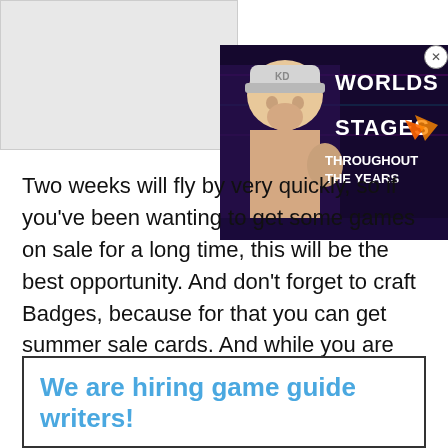[Figure (illustration): Gray placeholder box in top left corner, possibly for an image or advertisement placeholder]
[Figure (photo): Advertisement overlay in top right corner showing a female character with text 'WORLDS STAGES THROUGHOUT THE YEARS' on a dark purple/neon background]
Two weeks will fly by very quickly, so if you've been wanting to get some games on sale for a long time, this will be the best opportunity. And don't forget to craft Badges, because for that you can get summer sale cards. And while you are here, take a look at our guide on how to link Creative Assembly Account to Steam Account.
We are hiring game guide writers!